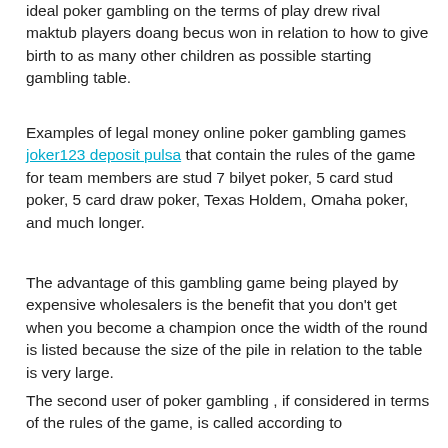ideal poker gambling on the terms of play drew rival maktub players doang becus won in relation to how to give birth to as many other children as possible starting gambling table.
Examples of legal money online poker gambling games joker123 deposit pulsa that contain the rules of the game for team members are stud 7 bilyet poker, 5 card stud poker, 5 card draw poker, Texas Holdem, Omaha poker, and much longer.
The advantage of this gambling game being played by expensive wholesalers is the benefit that you don't get when you become a champion once the width of the round is listed because the size of the pile in relation to the table is very large.
The second user of poker gambling , if considered in terms of the rules of the game, is called according to the rules and norms of a game and that there must be a